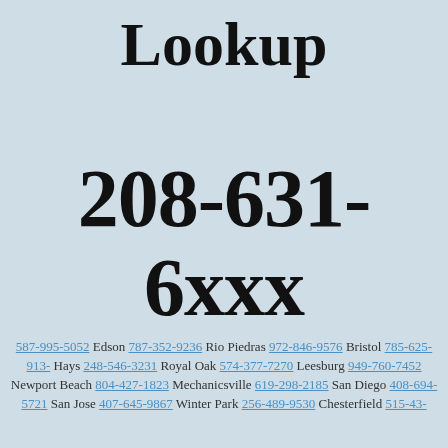Reverse Caller Lookup
208-631-6xxx
587-995-5052 Edson 787-352-9236 Rio Piedras 972-846-9576 Bristol 785-625-913- Hays 248-546-3231 Royal Oak 574-377-7270 Leesburg 949-760-7452 Newport Beach 804-427-1823 Mechanicsville 619-298-2185 San Diego 408-694-5721 San Jose 407-645-9867 Winter Park 256-489-9530 Chesterfield 515-43-